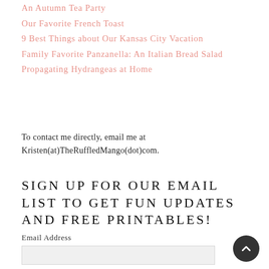An Autumn Tea Party
Our Favorite French Toast
9 Best Things about Our Kansas City Vacation
Family Favorite Panzanella: An Italian Bread Salad
Propagating Hydrangeas at Home
To contact me directly, email me at Kristen(at)TheRuffledMango(dot)com.
SIGN UP FOR OUR EMAIL LIST TO GET FUN UPDATES AND FREE PRINTABLES!
Email Address